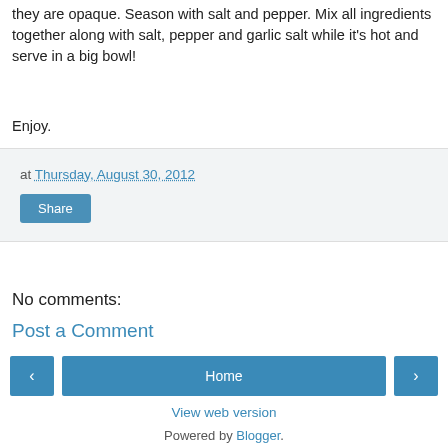they are opaque. Season with salt and pepper. Mix all ingredients together along with salt, pepper and garlic salt while it's hot and serve in a big bowl!
Enjoy.
at Thursday, August 30, 2012
Share
No comments:
Post a Comment
Home
View web version
Powered by Blogger.